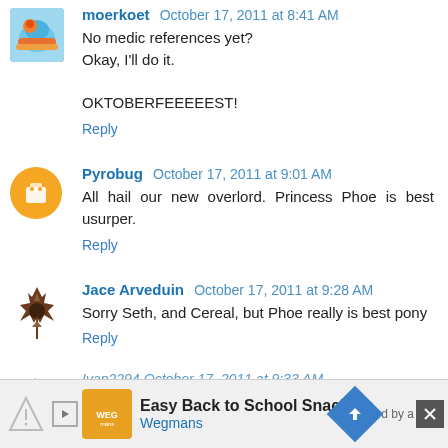moerkoet October 17, 2011 at 8:41 AM
No medic references yet?
Okay, I'll do it.

OKTOBERFEEEEEST!
Reply
Pyrobug October 17, 2011 at 9:01 AM
All hail our new overlord. Princess Phoe is best usurper.
Reply
Jace Arveduin October 17, 2011 at 9:28 AM
Sorry Seth, and Cereal, but Phoe really is best pony
Reply
Ivan2294 October 17, 2011 at 9:33 AM
[Figure (infographic): Advertisement banner: Easy Back to School Snacking by Wegmans with play button, logo, directional arrow sign, and close button]